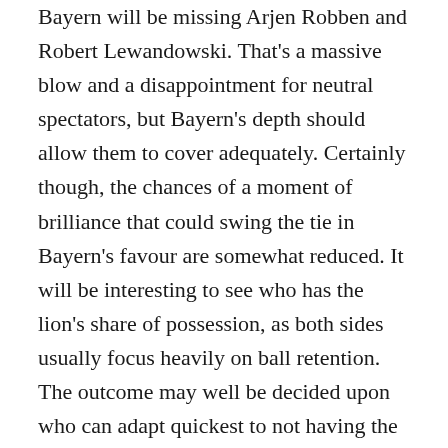Bayern will be missing Arjen Robben and Robert Lewandowski. That's a massive blow and a disappointment for neutral spectators, but Bayern's depth should allow them to cover adequately. Certainly though, the chances of a moment of brilliance that could swing the tie in Bayern's favour are somewhat reduced. It will be interesting to see who has the lion's share of possession, as both sides usually focus heavily on ball retention. The outcome may well be decided upon who can adapt quickest to not having the ball for prolonged periods of time, a situation that Bayern undoubtedly have the more suitable players for.